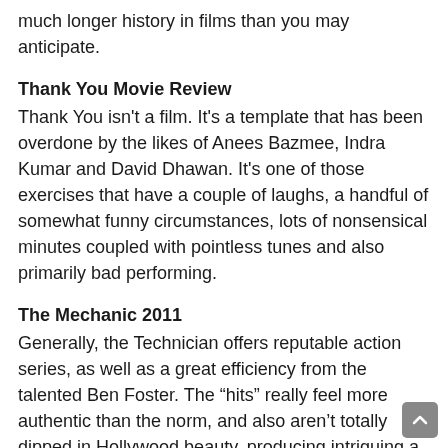much longer history in films than you may anticipate.
Thank You Movie Review
Thank You isn't a film. It's a template that has been overdone by the likes of Anees Bazmee, Indra Kumar and David Dhawan. It's one of those exercises that have a couple of laughs, a handful of somewhat funny circumstances, lots of nonsensical minutes coupled with pointless tunes and also primarily bad performing.
The Mechanic 2011
Generally, the Technician offers reputable action series, as well as a great efficiency from the talented Ben Foster. The “hits” really feel more authentic than the norm, and also aren’t totally dipped in Hollywood beauty, producing intriguing and also extreme activity. Statham as well as Foster followers will